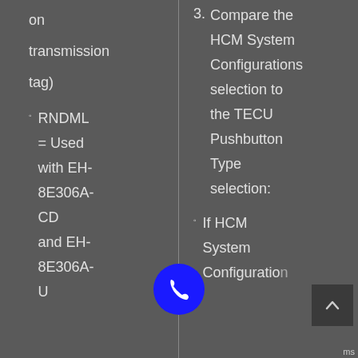on transmission tag)
RNDML = Used with EH-8E306A-CD and EH-8E306A-U
3. Compare the HCM System Configurations selection to the TECU Pushbutton Type selection:
If HCM System Configuration